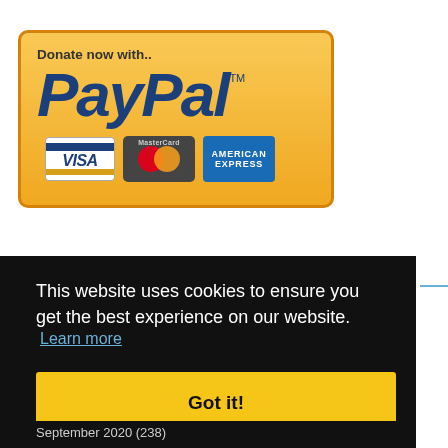[Figure (logo): PayPal donation button with Visa, MasterCard, and American Express logos on a golden gradient background. Text reads 'Donate now with.. PayPal™']
This website uses cookies to ensure you get the best experience on our website.
Learn more
Got it!
September 2020 (238)